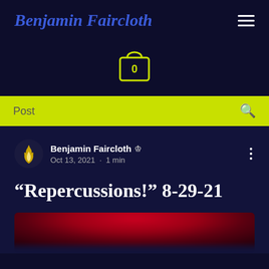Benjamin Faircloth
[Figure (illustration): Shopping cart icon with 0 items badge]
Post
Benjamin Faircloth Admin · Oct 13, 2021 · 1 min
“Repercussions!” 8-29-21
[Figure (photo): Blurred red image at the bottom of the post]